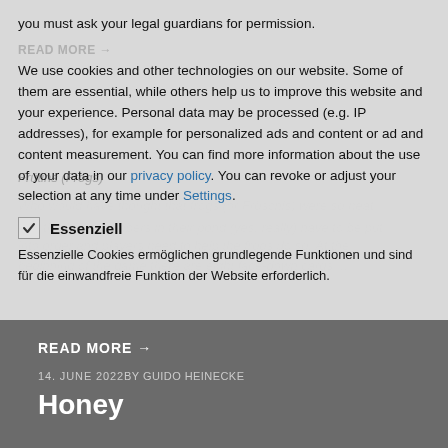you must ask your legal guardians for permission.
We use cookies and other technologies on our website. Some of them are essential, while others help us to improve this website and your experience. Personal data may be processed (e.g. IP addresses), for example for personalized ads and content or ad and content measurement. You can find more information about the use of your data in our privacy policy. You can revoke or adjust your selection at any time under Settings.
✓ Essenziell
Essenzielle Cookies ermöglichen grundlegende Funktionen und sind für die einwandfreie Funktion der Website erforderlich.
READ MORE →
14. JUNE 2022 by GUIDO HEINECKE
Honey